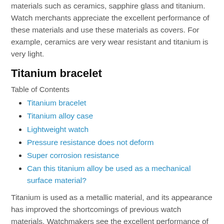materials such as ceramics, sapphire glass and titanium. Watch merchants appreciate the excellent performance of these materials and use these materials as covers. For example, ceramics are very wear resistant and titanium is very light.
Titanium bracelet
Table of Contents
Titanium bracelet
Titanium alloy case
Lightweight watch
Pressure resistance does not deform
Super corrosion resistance
Can this titanium alloy be used as a mechanical surface material?
Titanium is used as a metallic material, and its appearance has improved the shortcomings of previous watch materials. Watchmakers see the excellent performance of this material, and designing and the most advanced design. With outstanding